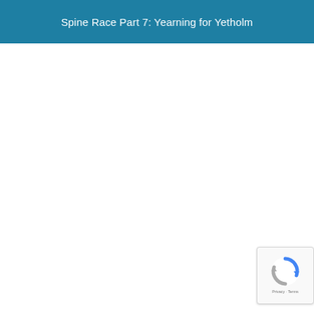Spine Race Part 7: Yearning for Yetholm
[Figure (logo): reCAPTCHA badge with rotating arrows icon and Privacy · Terms text]